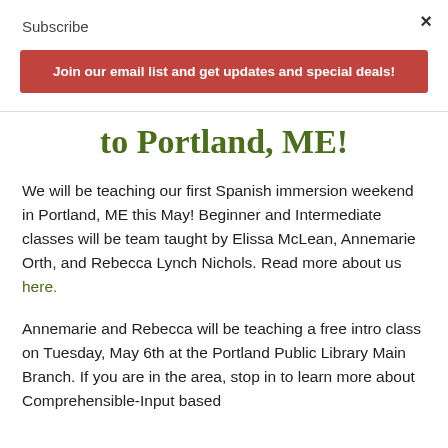Subscribe
×
Join our email list and get updates and special deals!
to Portland, ME!
We will be teaching our first Spanish immersion weekend in Portland, ME this May! Beginner and Intermediate classes will be team taught by Elissa McLean, Annemarie Orth, and Rebecca Lynch Nichols. Read more about us here.
Annemarie and Rebecca will be teaching a free intro class on Tuesday, May 6th at the Portland Public Library Main Branch. If you are in the area, stop in to learn more about Comprehensible-Input based